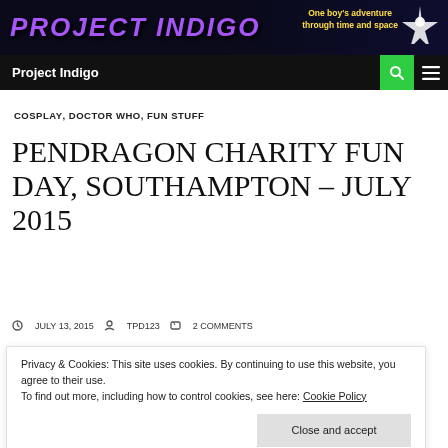Project Indigo — One boy's adventure through time and space
COSPLAY, DOCTOR WHO, FUN STUFF
PENDRAGON CHARITY FUN DAY, SOUTHAMPTON – JULY 2015
JULY 13, 2015  TPD123  2 COMMENTS
Privacy & Cookies: This site uses cookies. By continuing to use this website, you agree to their use.
To find out more, including how to control cookies, see here: Cookie Policy
Close and accept